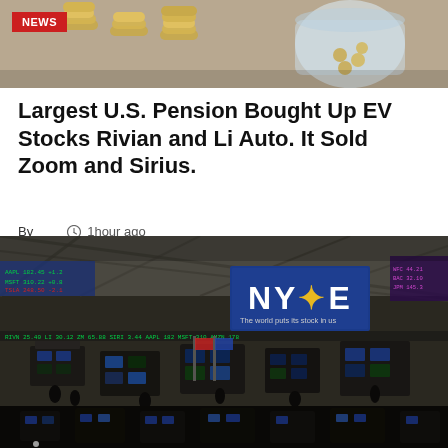[Figure (photo): Close-up photo of stacked coins and a glass jar filled with coins, representing savings or investment.]
NEWS
Largest U.S. Pension Bought Up EV Stocks Rivian and Li Auto. It Sold Zoom and Sirius.
By  🕐 1hour ago
[Figure (photo): Interior of the New York Stock Exchange (NYSE) trading floor showing traders, screens, equipment and the large NYSE logo banner.]